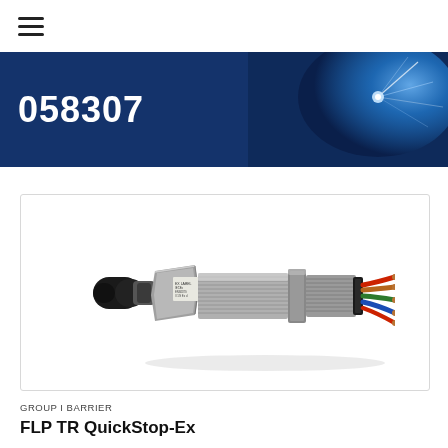☰
058307
[Figure (photo): Industrial cable gland connector (FLP TR QuickStop-Ex) shown in a product photo. The device is a metallic threaded cable gland with multi-colored wires (red, green, blue, copper) emerging from one end, and a black rubber boot on the other end. A label is visible on the body.]
GROUP I BARRIER
FLP TR QuickStop-Ex